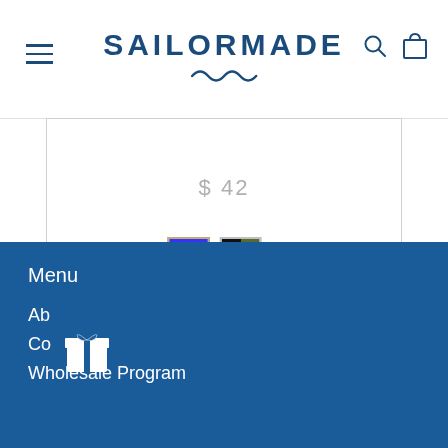SAILORMADE
$ 42
[Figure (other): Two color swatches: blue (selected, with gold border) and olive/black]
Menu
Ab...
Cu...s
Wholesale Program